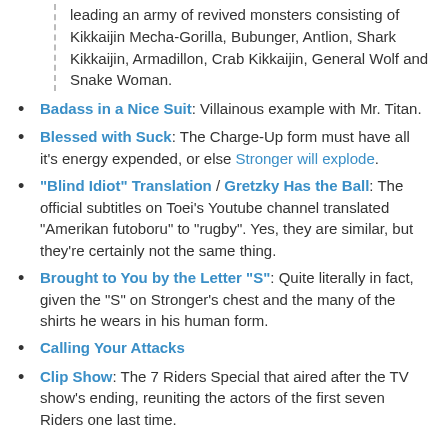leading an army of revived monsters consisting of Kikkaijin Mecha-Gorilla, Bubunger, Antlion, Shark Kikkaijin, Armadillon, Crab Kikkaijin, General Wolf and Snake Woman.
Badass in a Nice Suit: Villainous example with Mr. Titan.
Blessed with Suck: The Charge-Up form must have all it's energy expended, or else Stronger will explode.
"Blind Idiot" Translation / Gretzky Has the Ball: The official subtitles on Toei's Youtube channel translated "Amerikan futoboru" to "rugby". Yes, they are similar, but they're certainly not the same thing.
Brought to You by the Letter "S": Quite literally in fact, given the "S" on Stronger's chest and the many of the shirts he wears in his human form.
Calling Your Attacks
Clip Show: The 7 Riders Special that aired after the TV show's ending, reuniting the actors of the first seven Riders one last time.